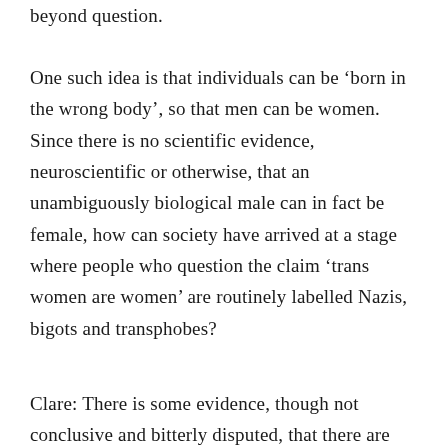beyond question.
One such idea is that individuals can be ‘born in the wrong body’, so that men can be women. Since there is no scientific evidence, neuroscientific or otherwise, that an unambiguously biological male can in fact be female, how can society have arrived at a stage where people who question the claim ‘trans women are women’ are routinely labelled Nazis, bigots and transphobes?
Clare: There is some evidence, though not conclusive and bitterly disputed, that there are